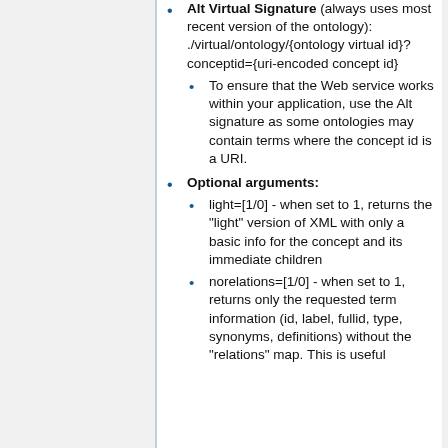Alt Virtual Signature (always uses most recent version of the ontology): ./virtual/ontology/{ontology virtual id}?conceptid={uri-encoded concept id}
To ensure that the Web service works within your application, use the Alt signature as some ontologies may contain terms where the concept id is a URI.
Optional arguments:
light=[1/0] - when set to 1, returns the "light" version of XML with only a basic info for the concept and its immediate children
norelations=[1/0] - when set to 1, returns only the requested term information (id, label, fullid, type, synonyms, definitions) without the "relations" map. This is useful